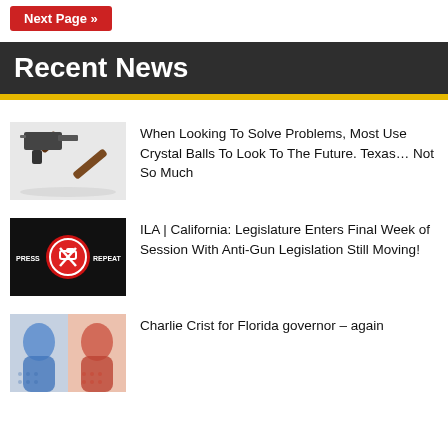Next Page »
Recent News
[Figure (photo): Gun and gavel on white background]
When Looking To Solve Problems, Most Use Crystal Balls To Look To The Future. Texas… Not So Much
[Figure (photo): Press Repeat button with crossed-out gun icon]
ILA | California: Legislature Enters Final Week of Session With Anti-Gun Legislation Still Moving!
[Figure (photo): Charlie Crist composite portrait in blue and red]
Charlie Crist for Florida governor – again